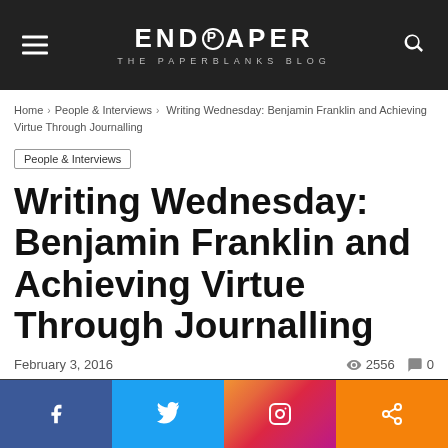ENDPAPER THE PAPERBLANKS BLOG
Home › People & Interviews › Writing Wednesday: Benjamin Franklin and Achieving Virtue Through Journalling
People & Interviews
Writing Wednesday: Benjamin Franklin and Achieving Virtue Through Journalling
February 3, 2016    2556   0
[Figure (photo): Dark textured fabric/textile close-up image]
[Figure (infographic): Social share bar with Facebook, Twitter, Instagram, and Share buttons]